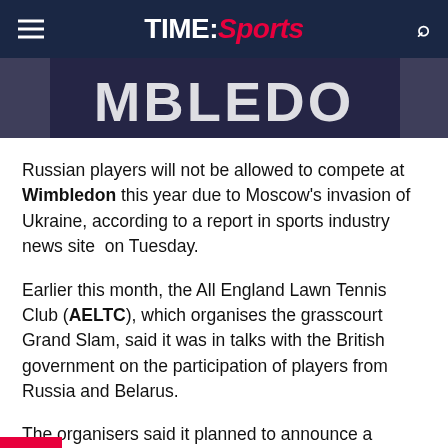TIME:Sports
[Figure (photo): Wimbledon logo/signage showing partial text 'MBLEDO' on dark navy background]
Russian players will not be allowed to compete at Wimbledon this year due to Moscow's invasion of Ukraine, according to a report in sports industry news site on Tuesday.
Earlier this month, the All England Lawn Tennis Club (AELTC), which organises the grasscourt Grand Slam, said it was in talks with the British government on the participation of players from Russia and Belarus.
The organisers said it planned to announce a decision in mid-May ahead of the entry deadline for the June 27-July 10 tournament.